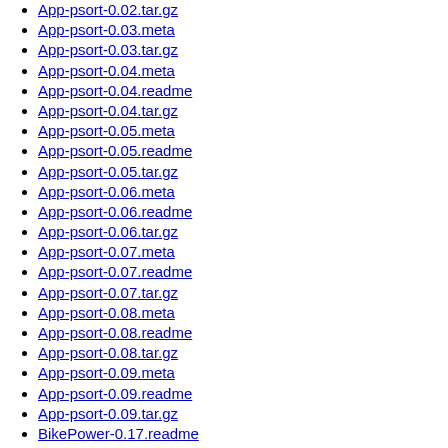App-psort-0.02.tar.gz
App-psort-0.03.meta
App-psort-0.03.tar.gz
App-psort-0.04.meta
App-psort-0.04.readme
App-psort-0.04.tar.gz
App-psort-0.05.meta
App-psort-0.05.readme
App-psort-0.05.tar.gz
App-psort-0.06.meta
App-psort-0.06.readme
App-psort-0.06.tar.gz
App-psort-0.07.meta
App-psort-0.07.readme
App-psort-0.07.tar.gz
App-psort-0.08.meta
App-psort-0.08.readme
App-psort-0.08.tar.gz
App-psort-0.09.meta
App-psort-0.09.readme
App-psort-0.09.tar.gz
BikePower-0.17.readme
BikePower-0.17.tar.gz
BikePower-0.33.readme
BikePower-0.33.tar.gz